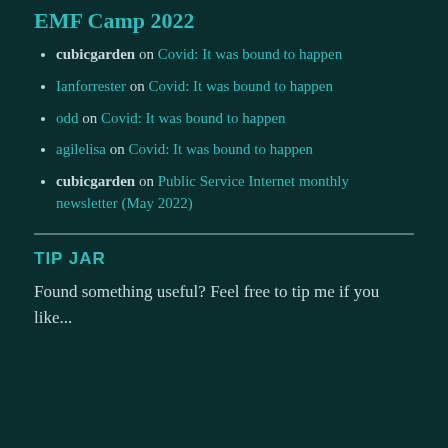EMF Camp 2022
cubicgarden on Covid: It was bound to happen
Ianforrester on Covid: It was bound to happen
odd on Covid: It was bound to happen
agilelisa on Covid: It was bound to happen
cubicgarden on Public Service Internet monthly newsletter (May 2022)
TIP JAR
Found something useful? Feel free to tip me if you like...